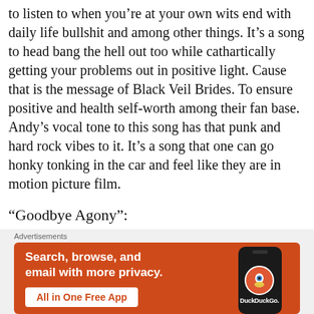to listen to when you're at your own wits end with daily life bullshit and among other things. It's a song to head bang the hell out too while cathartically getting your problems out in positive light. Cause that is the message of Black Veil Brides. To ensure positive and health self-worth among their fan base. Andy's vocal tone to this song has that punk and hard rock vibes to it. It's a song that one can go honky tonking in the car and feel like they are in motion picture film.
“Goodbye Agony”:
This song hits me VERY VERY personally. Th
[Figure (other): DuckDuckGo advertisement banner with orange background showing 'Search, browse, and email with more privacy. All in One Free App' with phone mockup and DuckDuckGo logo]